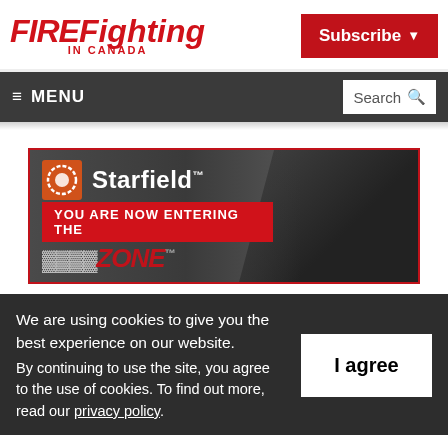FIREFighting IN CANADA
Subscribe
≡ MENU
Search
[Figure (photo): Starfield brand advertisement showing a firefighter in gear with text 'You are now entering the FIRE ZONE™']
We are using cookies to give you the best experience on our website. By continuing to use the site, you agree to the use of cookies. To find out more, read our privacy policy.
I agree